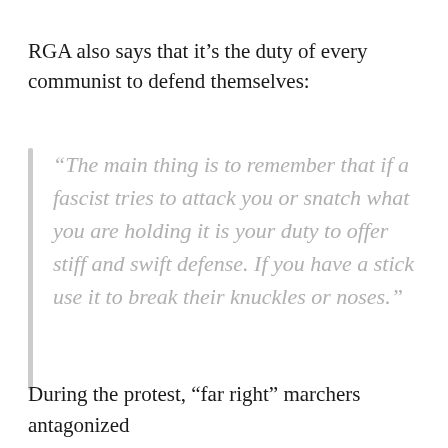RGA also says that it’s the duty of every communist to defend themselves:
“The main thing is to remember that if a fascist tries to attack you or snatch what you are holding it is your duty to offer stiff and swift defense. If you have a stick use it to break their knuckles or noses.”
During the protest, “far right” marchers antagonized